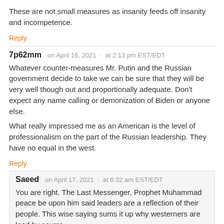These are not small measures as insanity feeds off insanity and incompetence.
Reply
7p62mm   on April 16, 2021  ·  at 2:13 pm EST/EDT
Whatever counter-measures Mr. Putin and the Russian government decide to take we can be sure that they will be very well though out and proportionally adequate. Don't expect any name calling or demonization of Biden or anyone else.
What really impressed me as an American is the level of professionalism on the part of the Russian leadership. They have no equal in the west.
Reply
Saeed   on April 17, 2021  ·  at 6:32 am EST/EDT
You are right. The Last Messenger, Prophet Muhammad peace be upon him said leaders are a reflection of their people. This wise saying sums it up why westerners are lead by scums.